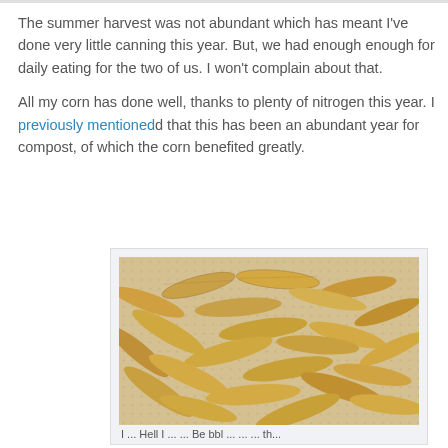The summer harvest was not abundant which has meant I've done very little canning this year. But, we had enough enough for daily eating for the two of us. I won't complain about that.

All my corn has done well, thanks to plenty of nitrogen this year. I previously mentioned that this has been an abundant year for compost, of which the corn benefited greatly.
[Figure (photo): A colander or perforated container filled with many small dried corn cobs/ears, viewed from above.]
I ... Hell I ... ... Be bbl ... ... ... th...